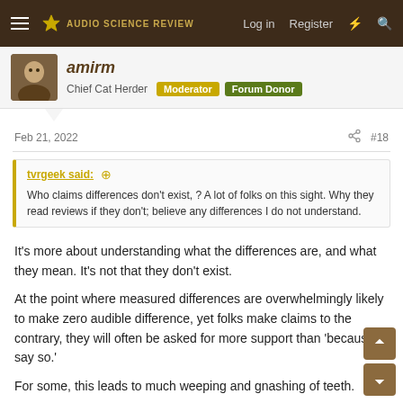Audio Science Review — Log in | Register
Chief Cat Herder  Moderator  Forum Donor
Feb 21, 2022  #18
tvrgeek said: ↑ Who claims differences don't exist, ? A lot of folks on this sight. Why they read reviews if they don't; believe any differences I do not understand.
It's more about understanding what the differences are, and what they mean. It's not that they don't exist.
At the point where measured differences are overwhelmingly likely to make zero audible difference, yet folks make claims to the contrary, they will often be asked for more support than 'because I say so.'
For some, this leads to much weeping and gnashing of teeth.